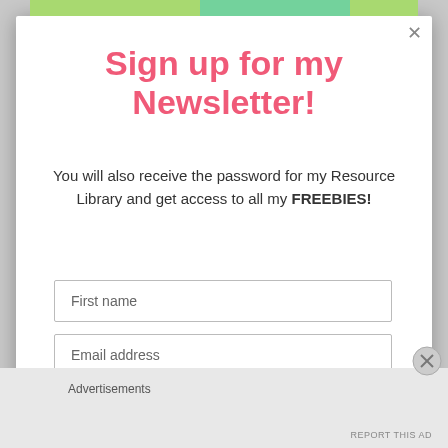[Figure (screenshot): Background with colorful educational worksheet visible behind modal]
Sign up for my Newsletter!
You will also receive the password for my Resource Library and get access to all my FREEBIES!
First name
Email address
Advertisements
REPORT THIS AD